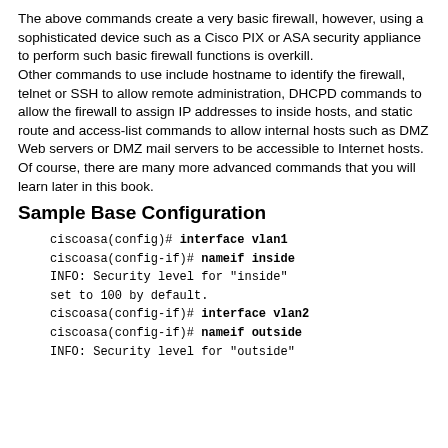The above commands create a very basic firewall, however, using a sophisticated device such as a Cisco PIX or ASA security appliance to perform such basic firewall functions is overkill.
Other commands to use include hostname to identify the firewall, telnet or SSH to allow remote administration, DHCPD commands to allow the firewall to assign IP addresses to inside hosts, and static route and access-list commands to allow internal hosts such as DMZ Web servers or DMZ mail servers to be accessible to Internet hosts. Of course, there are many more advanced commands that you will learn later in this book.
Sample Base Configuration
ciscoasa(config)# interface vlan1
ciscoasa(config-if)# nameif inside
INFO: Security level for "inside"
set to 100 by default.
ciscoasa(config-if)# interface vlan2
ciscoasa(config-if)# nameif outside
INFO: Security level for "outside"